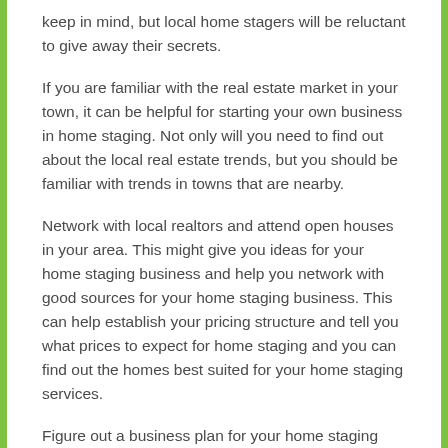keep in mind, but local home stagers will be reluctant to give away their secrets.
If you are familiar with the real estate market in your town, it can be helpful for starting your own business in home staging. Not only will you need to find out about the local real estate trends, but you should be familiar with trends in towns that are nearby.
Network with local realtors and attend open houses in your area. This might give you ideas for your home staging business and help you network with good sources for your home staging business. This can help establish your pricing structure and tell you what prices to expect for home staging and you can find out the homes best suited for your home staging services.
Figure out a business plan for your home staging business because you might need resources for